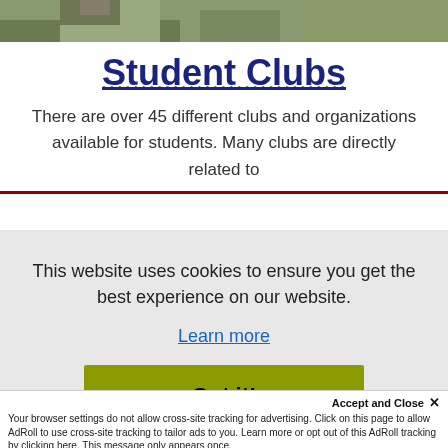[Figure (photo): Photo strip of students outdoors on grass, partial view at top of page]
Student Clubs
There are over 45 different clubs and organizations available for students. Many clubs are directly related to
This website uses cookies to ensure you get the best experience on our website.
Learn more
Got it!
Accept and Close ✕
Your browser settings do not allow cross-site tracking for advertising. Click on this page to allow AdRoll to use cross-site tracking to tailor ads to you. Learn more or opt out of this AdRoll tracking by clicking here. This message only appears once.